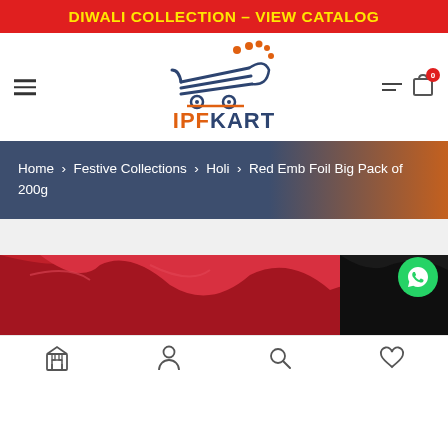DIWALI COLLECTION – VIEW CATALOG
[Figure (logo): IPFKart shopping cart logo with orange dots and dark blue cart icon, with text IPFKART below]
Home › Festive Collections › Holi › Red Emb Foil Big Pack of 200g
[Figure (photo): Red and black embossed foil product image, partially visible]
Store | Account | Search | Wishlist